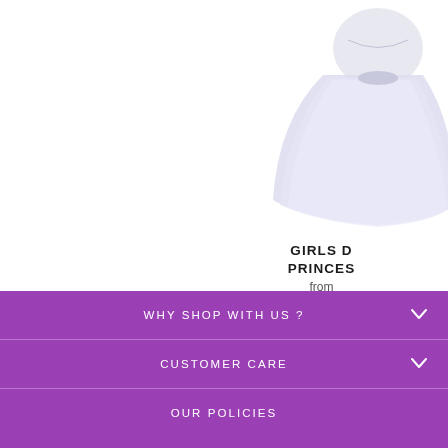[Figure (photo): Partial view of a girls princess dress in light blue/white tulle, shown from approximately waist down, cut off at right edge of page]
GIRLS D PRINCES from
WHY SHOP WITH US ?
CUSTOMER CARE
OUR POLICIES